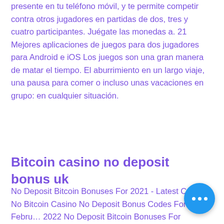presente en tu teléfono móvil, y te permite competir contra otros jugadores en partidas de dos, tres y cuatro participantes. Juégate las monedas a. 21 Mejores aplicaciones de juegos para dos jugadores para Android e iOS Los juegos son una gran manera de matar el tiempo. El aburrimiento en un largo viaje, una pausa para comer o incluso unas vacaciones en grupo: en cualquier situación.
Bitcoin casino no deposit bonus uk
No Deposit Bitcoin Bonuses For 2021 - Latest Casino No Bitcoin Casino No Deposit Bonus Codes For UK | February 2022 No Deposit Bitcoin Bonuses For